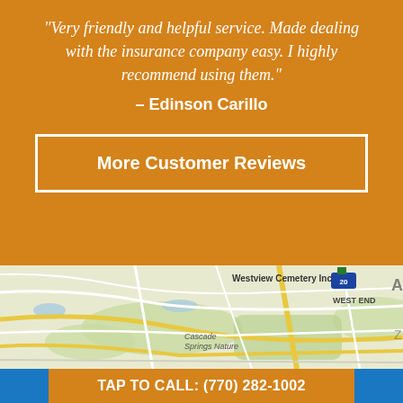"Very friendly and helpful service. Made dealing with the insurance company easy. I highly recommend using them."
– Edinson Carillo
More Customer Reviews
[Figure (map): Google Maps excerpt showing Westview Cemetery Inc, West End neighborhood, Cascade Springs Nature area, with road networks and green spaces visible.]
TAP TO CALL: (770) 282-1002